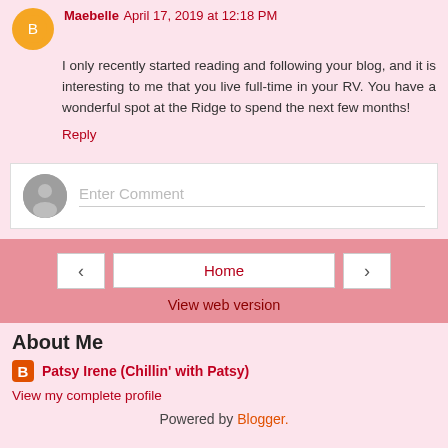Maebelle April 17, 2019 at 12:18 PM
I only recently started reading and following your blog, and it is interesting to me that you live full-time in your RV. You have a wonderful spot at the Ridge to spend the next few months!
Reply
[Figure (other): Enter Comment input box with gray avatar]
[Figure (other): Navigation bar with left arrow, Home button, right arrow, and View web version link]
About Me
Patsy Irene (Chillin' with Patsy)
View my complete profile
Powered by Blogger.